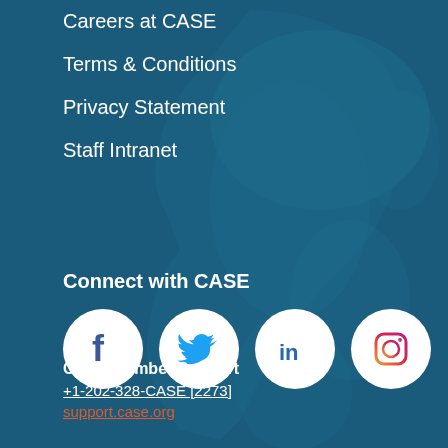Careers at CASE
Terms & Conditions
Privacy Statement
Staff Intranet
Connect with CASE
[Figure (illustration): Four social media icons in white circles: Facebook (blue f), Twitter (blue bird), LinkedIn (dark blue in text), Instagram (gradient camera icon)]
CASE Member Support
+1-202-328-CASE [2273]
support.case.org